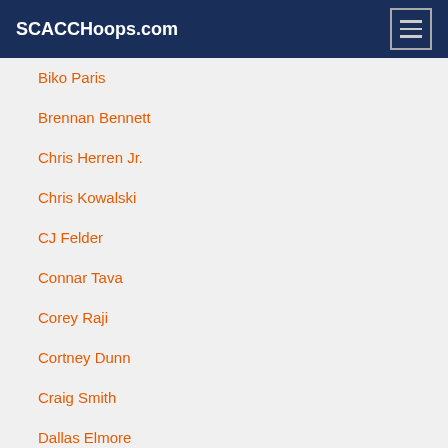SCACCHoops.com
Biko Paris
Brennan Bennett
Chris Herren Jr.
Chris Kowalski
CJ Felder
Connar Tava
Corey Raji
Cortney Dunn
Craig Smith
Dallas Elmore
Danny Rubin
Darryl Hicks